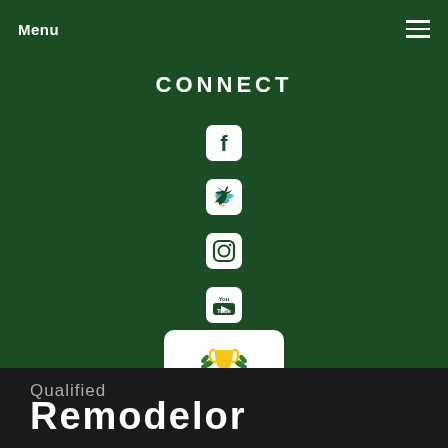Menu
CONNECT
[Figure (illustration): Social media icons: Facebook, Twitter, Instagram, YouTube arranged vertically on dark green background]
[Figure (other): Best of 2020 badge - General Contractors in Gap, PA - Porch award badge with trophy icon]
Qualified Remodelor